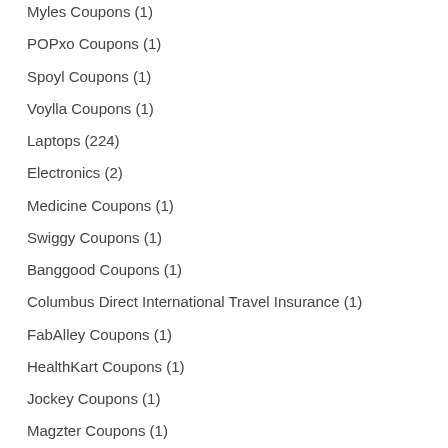Myles Coupons (1)
POPxo Coupons (1)
Spoyl Coupons (1)
Voylla Coupons (1)
Laptops (224)
Electronics (2)
Medicine Coupons (1)
Swiggy Coupons (1)
Banggood Coupons (1)
Columbus Direct International Travel Insurance (1)
FabAlley Coupons (1)
HealthKart Coupons (1)
Jockey Coupons (1)
Magzter Coupons (1)
MyVishal Coupons (1)
Paytm…